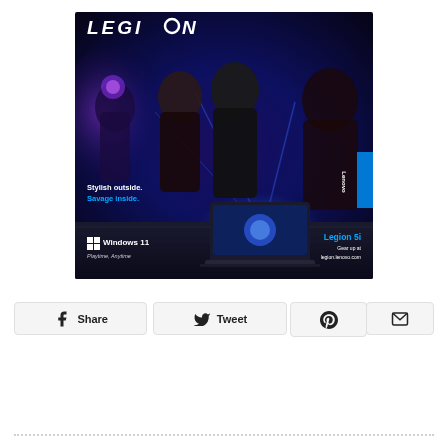[Figure (advertisement): Lenovo Legion gaming laptop advertisement with dark sci-fi themed background featuring multiple characters (fantasy warriors, a woman, a man), glowing blue light effects. Text reads: LEGION, Stylish outside. Savage inside. Windows 11 Playtime Anytime. Legion 5i Gear up at legion.lenovo.com. Lenovo badge on right side.]
Share
Tweet